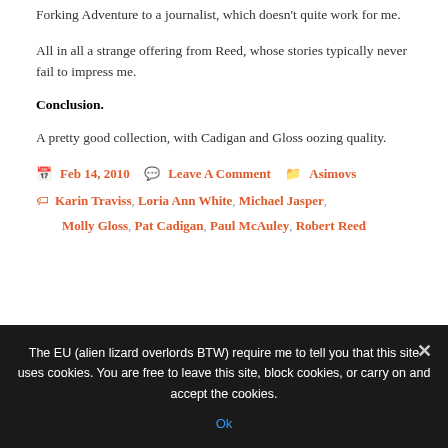Forking Adventure to a journalist, which doesn't quite work for me.
All in all a strange offering from Reed, whose stories typically never fail to impress me.
Conclusion.
A pretty good collection, with Cadigan and Gloss oozing quality.
Feb 14, 2010  Leave A Comment  Asimovs  Karin Traviss, Loria Ann White, Michael Jasper, Molly Gloss, Pat Cadigan, Paul McAuley, Robert Reed
The EU (alien lizard overlords BTW) require me to tell you that this site uses cookies. You are free to leave this site, block cookies, or carry on and accept the cookies. Ok